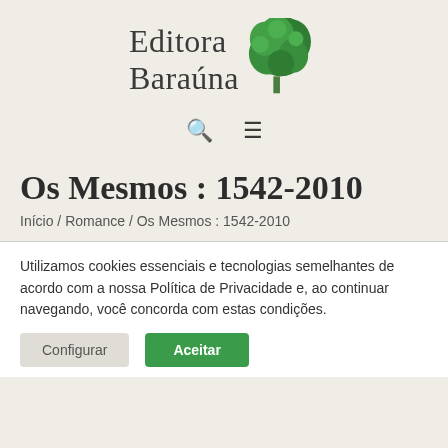[Figure (logo): Editora Baraúna logo with green tree illustration and serif text]
[Figure (infographic): Navigation icons: search (magnifying glass) and hamburger menu]
Os Mesmos : 1542-2010
Início / Romance / Os Mesmos : 1542-2010
Utilizamos cookies essenciais e tecnologias semelhantes de acordo com a nossa Política de Privacidade e, ao continuar navegando, você concorda com estas condições.